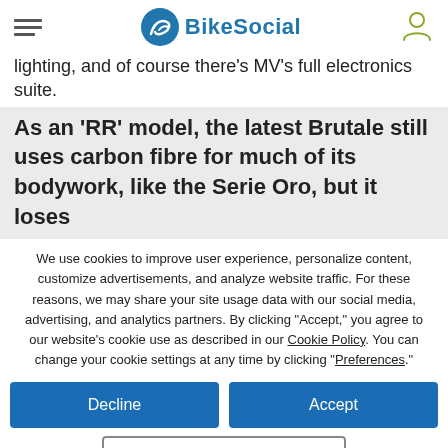BikeSocial
lighting, and of course there's MV's full electronics suite.
As an 'RR' model, the latest Brutale still uses carbon fibre for much of its bodywork, like the Serie Oro, but it loses
We use cookies to improve user experience, personalize content, customize advertisements, and analyze website traffic. For these reasons, we may share your site usage data with our social media, advertising, and analytics partners. By clicking "Accept," you agree to our website's cookie use as described in our Cookie Policy. You can change your cookie settings at any time by clicking "Preferences."
Decline
Accept
Preferences